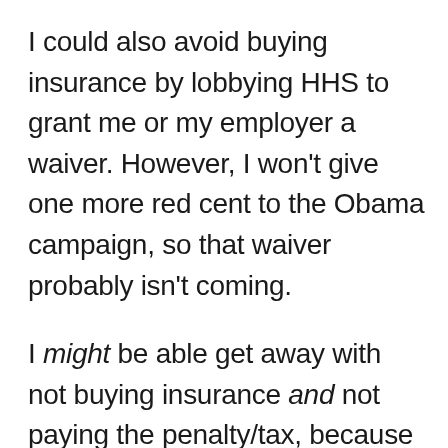I could also avoid buying insurance by lobbying HHS to grant me or my employer a waiver. However, I won't give one more red cent to the Obama campaign, so that waiver probably isn't coming.
I might be able get away with not buying insurance and not paying the penalty/tax, because the law includes restrictions on the government's ability to collect the tax. But I wouldn't want to count on not getting audited by the IRS, and I don't expect this loophole to be